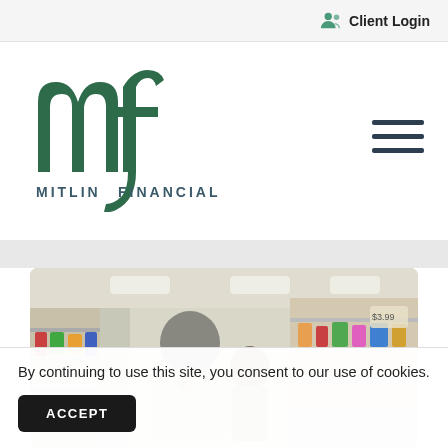Client Login
[Figure (logo): Mitlin Financial logo — stylized 'mf' monogram in dark green with 'MITLIN FINANCIAL' text below]
[Figure (photo): An elderly woman and a young child browsing products in a grocery store aisle]
By continuing to use this site, you consent to our use of cookies.
ACCEPT